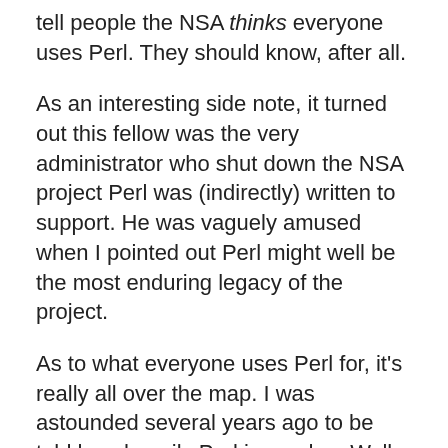tell people the NSA thinks everyone uses Perl. They should know, after all.
As an interesting side note, it turned out this fellow was the very administrator who shut down the NSA project Perl was (indirectly) written to support. He was vaguely amused when I pointed out Perl might well be the most enduring legacy of the project.
As to what everyone uses Perl for, it's really all over the map. I was astounded several years ago to be told how heavily Perl is used on Wall Street. “A Perl book on every other desk” is how I heard it. But it makes sense when you realize that market analysts need to revise their models continually, and they need to scan news services for information that might be related to their positions in the market. Rapid prototyping and text processing are what they need.